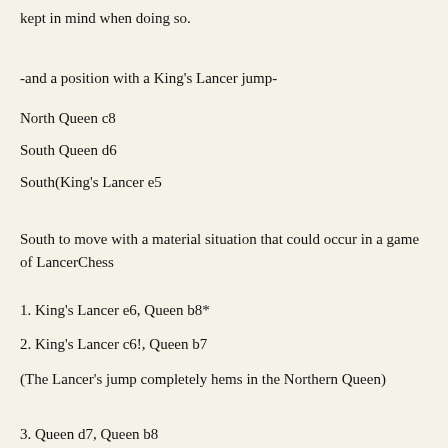kept in mind when doing so.
-and a position with a King's Lancer jump-
North Queen c8
South Queen d6
South(King's Lancer e5
South to move with a material situation that could occur in a game of LancerChess
1. King's Lancer e6, Queen b8*
2. King's Lancer c6!, Queen b7
(The Lancer's jump completely hems in the Northern Queen)
3. Queen d7, Queen b8